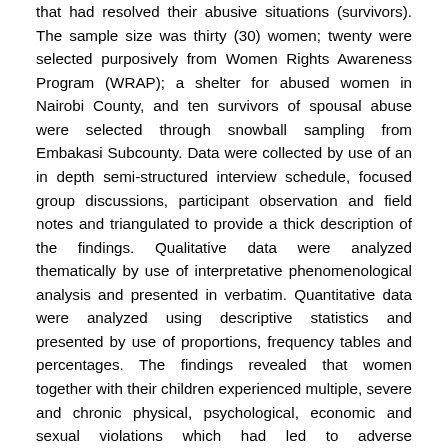that had resolved their abusive situations (survivors). The sample size was thirty (30) women; twenty were selected purposively from Women Rights Awareness Program (WRAP); a shelter for abused women in Nairobi County, and ten survivors of spousal abuse were selected through snowball sampling from Embakasi Subcounty. Data were collected by use of an in depth semi-structured interview schedule, focused group discussions, participant observation and field notes and triangulated to provide a thick description of the findings. Qualitative data were analyzed thematically by use of interpretative phenomenological analysis and presented in verbatim. Quantitative data were analyzed using descriptive statistics and presented by use of proportions, frequency tables and percentages. The findings revealed that women together with their children experienced multiple, severe and chronic physical, psychological, economic and sexual violations which had led to adverse psychological effects that rendered women helpless and contributed to their entrapment in abusive marriages. The study revealed that beliefs such as; need for identity, marriage is permanent, need for father figure,abuse is normal and feelings such as hope that the abuser would change and love for the abuser coupled with coping mechanisms characterized by denial, rationalization of abuse,avoidance and keeping oneself busy influenced women's stay decisions. Based on the findings from the